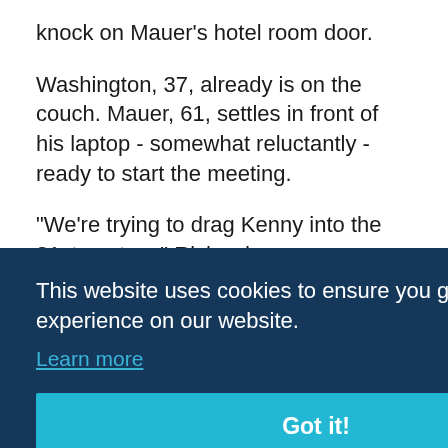knock on Mauer's hotel room door.
Washington, 37, already is on the couch. Mauer, 61, settles in front of his laptop - somewhat reluctantly - ready to start the meeting.
"We're trying to drag Kenny into the 21st century," Richardson says, laughing. "I can't wait to have him open a play on his phone."
[Figure (screenshot): Cookie consent banner overlay with dark navy background. Text reads: 'This website uses cookies to ensure you get the best experience on our website.' with a 'Learn more' link and a cyan 'Got it!' button. Partially visible text behind the overlay on the right side includes 'r', 'urs', '994-'.]
"The ...